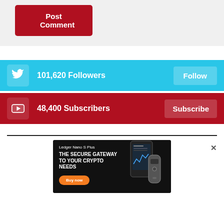Post Comment
101,620 Followers
Follow
48,400 Subscribers
Subscribe
[Figure (screenshot): Ledger Nano S Plus advertisement banner with black background. Text reads 'Ledger Nano S Plus' and 'THE SECURE GATEWAY TO YOUR CRYPTO NEEDS' with an orange 'Buy now' button and device image on the right.]